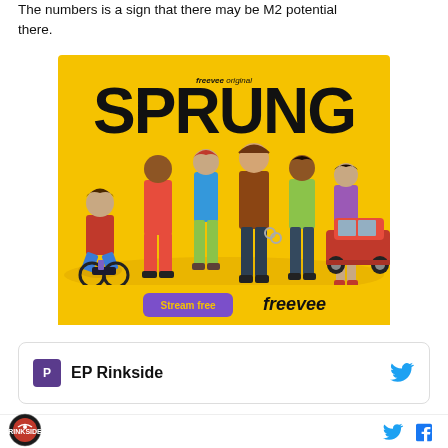The numbers is a sign that there may be M2 potential there.
[Figure (photo): Advertisement for Amazon Freevee Original series 'SPRUNG' showing cast of characters on a yellow background with a 'Stream free' button and Freevee logo at the bottom.]
EP Rinkside
[Figure (logo): Circular logo with a hockey-related emblem at the bottom of the page.]